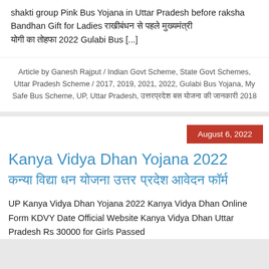shakti group Pink Bus Yojana in Uttar Pradesh before raksha Bandhan Gift for Ladies राखीबंधन से पहले मुख्यमंत्री योगी का तोहफा 2022 Gulabi Bus [...]
Article by Ganesh Rajput / Indian Govt Scheme, State Govt Schemes, Uttar Pradesh Scheme / 2017, 2019, 2021, 2022, Gulabi Bus Yojana, My Safe Bus Scheme, UP, Uttar Pradesh, उत्तरप्रदेश बस योजना की जानकारी 2018
August 6, 2022
Kanya Vidya Dhan Yojana 2022 कन्या विद्या धन योजना उत्तर प्रदेश आवेदन फॉर्म
UP Kanya Vidya Dhan Yojana 2022 Kanya Vidya Dhan Online Form KDVY Date Official Website Kanya Vidya Dhan Uttar Pradesh Rs 30000 for Girls Passed